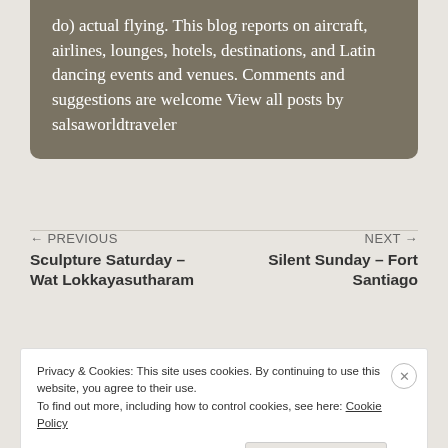do) actual flying. This blog reports on aircraft, airlines, lounges, hotels, destinations, and Latin dancing events and venues. Comments and suggestions are welcome View all posts by salsaworldtraveler
← PREVIOUS
Sculpture Saturday – Wat Lokkayasutharam
NEXT →
Silent Sunday – Fort Santiago
Privacy & Cookies: This site uses cookies. By continuing to use this website, you agree to their use.
To find out more, including how to control cookies, see here: Cookie Policy
Close and accept